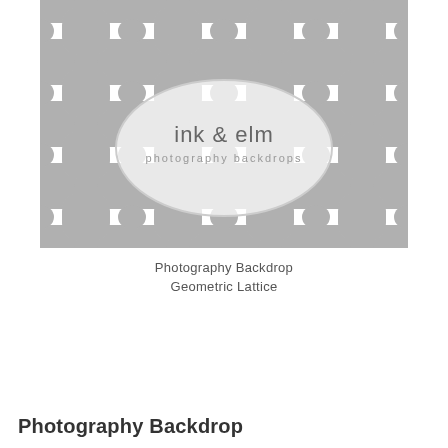[Figure (illustration): Photography backdrop product image showing a gray and white geometric Moroccan/quatrefoil lattice pattern. In the center is an oval logo badge reading 'ink & elm photography backdrops' in light gray text.]
Photography Backdrop
Geometric Lattice
Photography Backdrop